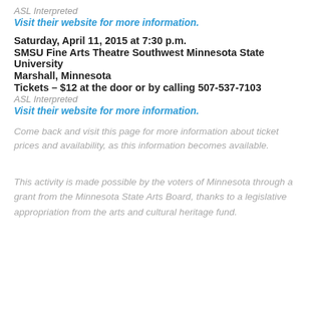ASL Interpreted
Visit their website for more information.
Saturday, April 11, 2015 at 7:30 p.m.
SMSU Fine Arts Theatre Southwest Minnesota State University
Marshall, Minnesota
Tickets – $12 at the door or by calling 507-537-7103
ASL Interpreted
Visit their website for more information.
Come back and visit this page for more information about ticket prices and availability, as this information becomes available.
This activity is made possible by the voters of Minnesota through a grant from the Minnesota State Arts Board, thanks to a legislative appropriation from the arts and cultural heritage fund.